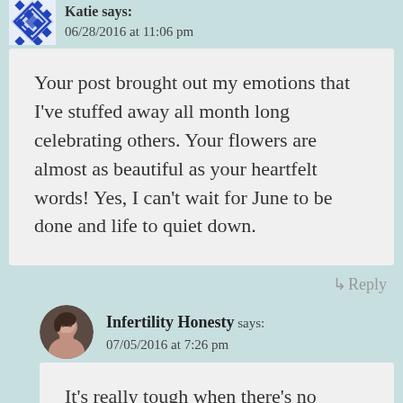Katie says: 06/28/2016 at 11:06 pm
Your post brought out my emotions that I've stuffed away all month long celebrating others. Your flowers are almost as beautiful as your heartfelt words! Yes, I can't wait for June to be done and life to quiet down.
↳ Reply
Infertility Honesty says: 07/05/2016 at 7:26 pm
It's really tough when there's no balancing aspect, at least societally speaking. It's so easy, or sometimes we don't have much of